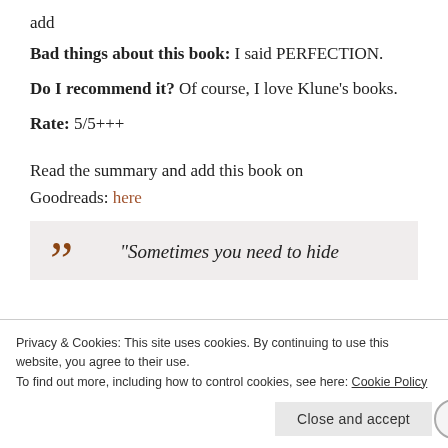add
Bad things about this book: I said PERFECTION.
Do I recommend it? Of course, I love Klune’s books.
Rate: 5/5+++
Read the summary and add this book on Goodreads: here
“Sometimes you need to hide
Privacy & Cookies: This site uses cookies. By continuing to use this website, you agree to their use. To find out more, including how to control cookies, see here: Cookie Policy